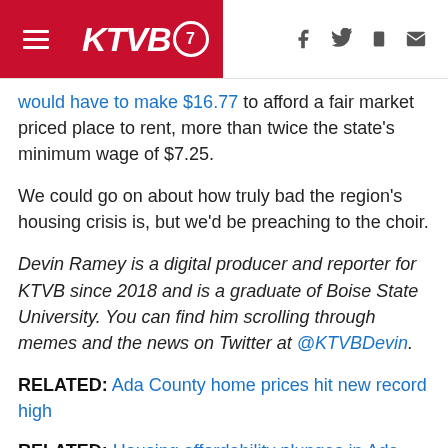KTVB7 navigation header with hamburger menu, logo, and social icons
would have to make $16.77 to afford a fair market priced place to rent, more than twice the state's minimum wage of $7.25.
We could go on about how truly bad the region's housing crisis is, but we'd be preaching to the choir.
Devin Ramey is a digital producer and reporter for KTVB since 2018 and is a graduate of Boise State University. You can find him scrolling through memes and the news on Twitter at @KTVBDevin.
RELATED: Ada County home prices hit new record high
RELATED: Housing affordability plunges in Ada County as prices continue to climb
RELATED: New Year, new top 10 'Best Cities' ranking for Boise